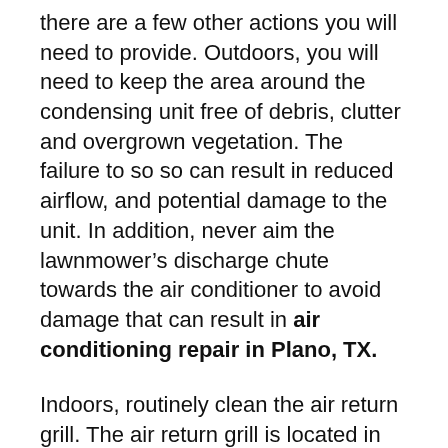there are a few other actions you will need to provide. Outdoors, you will need to keep the area around the condensing unit free of debris, clutter and overgrown vegetation. The failure to so so can result in reduced airflow, and potential damage to the unit. In addition, never aim the lawnmower’s discharge chute towards the air conditioner to avoid damage that can result in air conditioning repair in Plano, TX.
Indoors, routinely clean the air return grill. The air return grill is located in the section where you change the air filter. Dust and lint can eventually block the grill, and can potentially result in damage to the system. To avoid the need for air conditioning repair in Plano, TX, provide a quick vacuum to the grill once a month when you